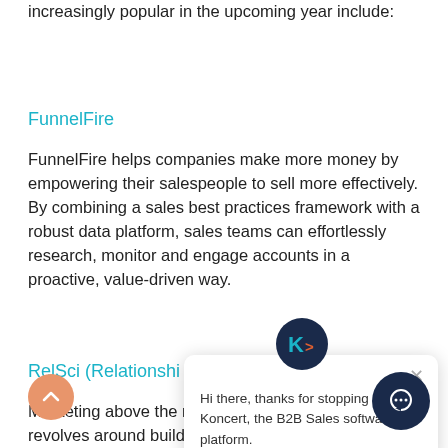increasingly popular in the upcoming year include:
FunnelFire
FunnelFire helps companies make more money by empowering their salespeople to sell more effectively. By combining a sales best practices framework with a robust data platform, sales teams can effortlessly research, monitor and engage accounts in a proactive, value-driven way.
RelSci (Relationshi...
Marketing above the noise and to the right people revolves around building relationships with potential customers and their go-to sources. This relationship capital platform...